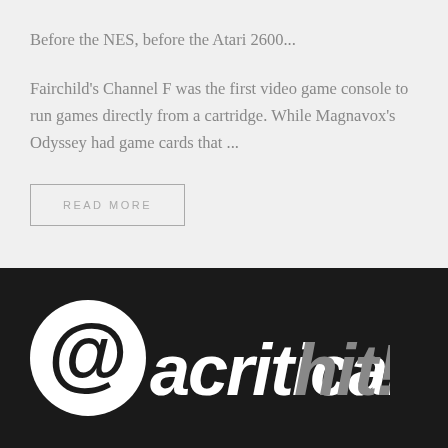Before the NES, before the Atari 2600...
Fairchild's Channel F was the first video game console to run games directly from a cartridge. While Magnavox's Odyssey had game cards that ...
READ MORE
[Figure (logo): A Critical Hit! logo — white circle with '@' symbol on dark background followed by bold italic text 'acritical' in white and 'hit!' in gray]